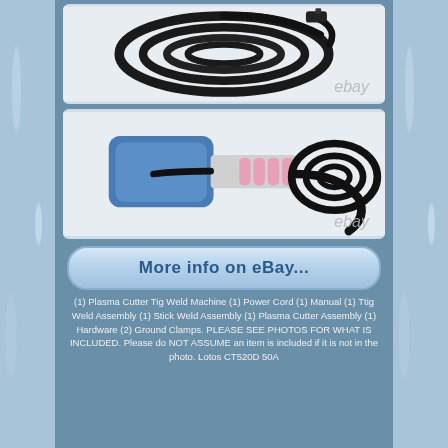[Figure (photo): Coiled black cables/hoses for welding equipment on white background with eBay watermark]
[Figure (photo): Blue foot pedal control and TIG torch head with pink ceramic cups, coiled black hose, on white background with eBay watermark]
[Figure (screenshot): Blue rounded rectangle button with text: More info on eBay...]
(1) Plasma Cutter Tig Weld Machine (1) Power Cord (1) Manual (1) Ttig Weld Assembly (1) Stick Weld Assembly (1) Plasma Cutter Assembly (1) Hardware (2) Ground Clamps. PLEASE SEE PHOTOS FOR WHAT IS INCLUDED. Please do NOT ASSUME an item is included if it is not in the photo. Lotos CT520D 50A